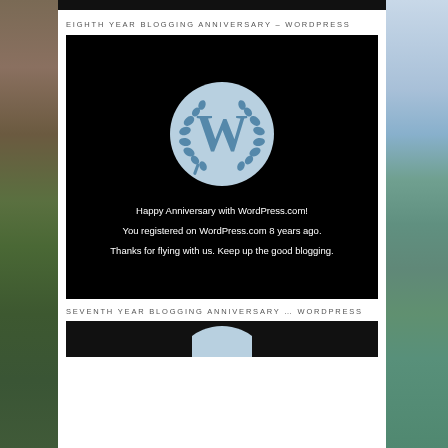EIGHTH YEAR BLOGGING ANNIVERSARY – WORDPRESS
[Figure (illustration): WordPress eighth year blogging anniversary image on black background. Shows WordPress logo (W in laurel wreath circle) with text: 'Happy Anniversary with WordPress.com! You registered on WordPress.com 8 years ago. Thanks for flying with us. Keep up the good blogging.']
SEVENTH YEAR BLOGGING ANNIVERSARY … WORDPRESS